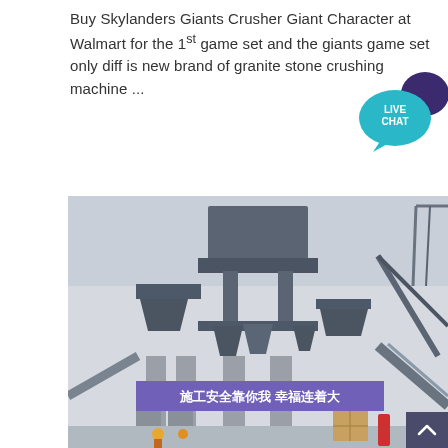Buy Skylanders Giants Crusher Giant Character at Walmart for the 1st game set and the giants game set only diff is new brand of granite stone crushing machine ...
[Figure (photo): Photograph of an industrial granite stone crushing machine facility with Chinese safety banner reading '施工安全靠你我 幸福连着大', showing multiple crusher units mounted on elevated steel structure with conveyor belts.]